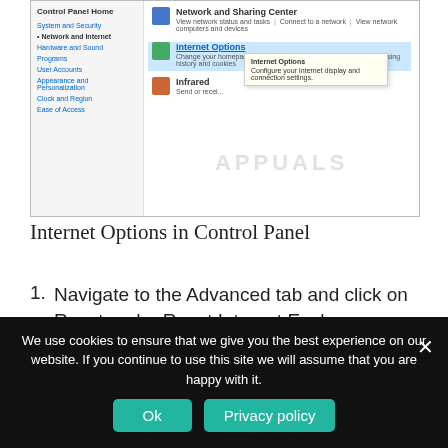[Figure (screenshot): Windows Control Panel screenshot showing Network and Internet settings with Internet Options highlighted and a tooltip visible showing 'Internet Options - Configure your Internet display and connection settings.']
Internet Options in Control Panel
Navigate to the Advanced tab and click on Reset under Reset Internet Explorer settings.
Check the box next to Delete personal settings if
We use cookies to ensure that we give you the best experience on our website. If you continue to use this site we will assume that you are happy with it.